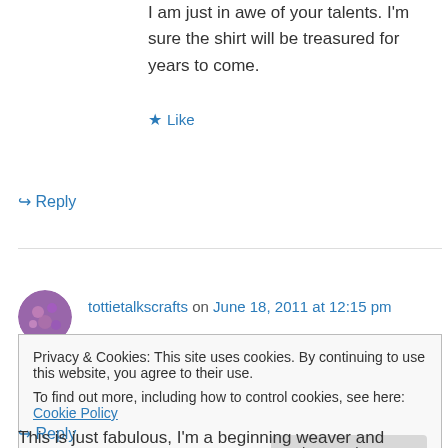I am just in awe of your talents. I'm sure the shirt will be treasured for years to come.
★ Like
↪ Reply
tottietalkscrafts on June 18, 2011 at 12:15 pm
Thank you so much, Nancy! 🙂
★ Like
↪ Reply
Privacy & Cookies: This site uses cookies. By continuing to use this website, you agree to their use.
To find out more, including how to control cookies, see here: Cookie Policy
Close and accept
This is just fabulous, I'm a beginning weaver and